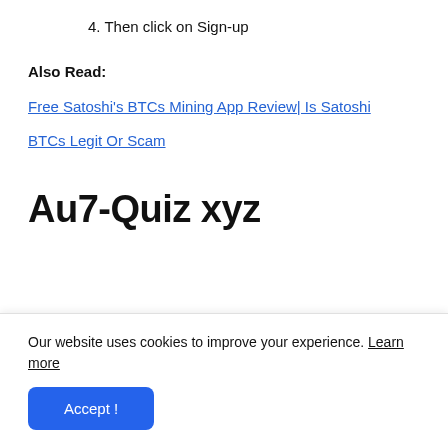4. Then click on Sign-up
Also Read:
Free Satoshi's BTCs Mining App Review| Is Satoshi BTCs Legit Or Scam
Au7-Quiz xyz
Our website uses cookies to improve your experience. Learn more
Accept !